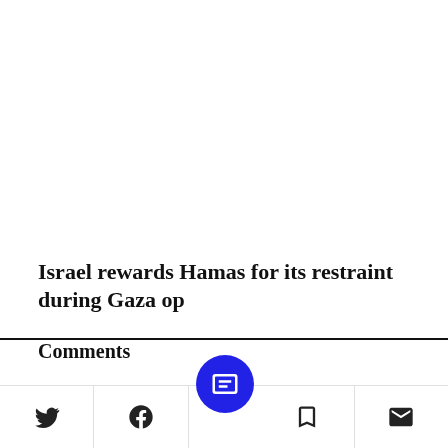Israel rewards Hamas for its restraint during Gaza op
Comments
Name
Get a
Twitter | Facebook | Newsbreak | Bookmark | Email